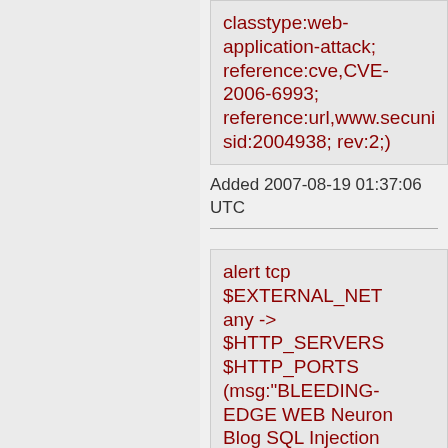classtype:web-application-attack; reference:cve,CVE-2006-6993; reference:url,www.secuni sid:2004938; rev:2;)
Added 2007-08-19 01:37:06 UTC
alert tcp $EXTERNAL_NET any -> $HTTP_SERVERS $HTTP_PORTS (msg:"BLEEDING-EDGE WEB Neuron Blog SQL Injection Attempt -- addcomment2.php